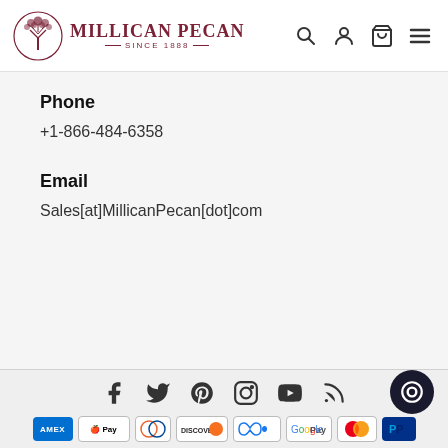[Figure (logo): Millican Pecan logo with tree in circle and text 'MILLICAN PECAN SINCE 1888']
Phone
+1-866-484-6358
Email
Sales[at]MillicanPecan[dot]com
[Figure (infographic): Social media icons: Facebook, Twitter, Pinterest, Instagram, YouTube, RSS feed, plus chat bubble icon]
[Figure (infographic): Payment method badges: AMEX, Apple Pay, Diners Club, Discover, Meta Pay, Google Pay, Mastercard, PayPal]